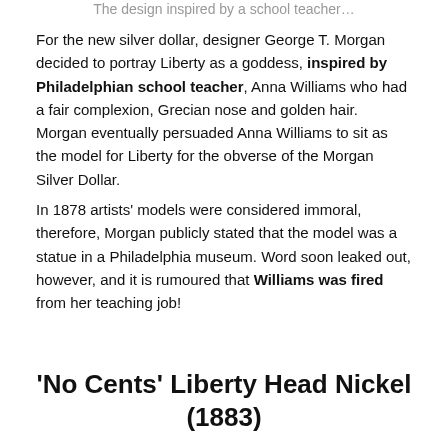The design inspired by a school teacher…
For the new silver dollar, designer George T. Morgan decided to portray Liberty as a goddess, inspired by Philadelphian school teacher, Anna Williams who had a fair complexion, Grecian nose and golden hair. Morgan eventually persuaded Anna Williams to sit as the model for Liberty for the obverse of the Morgan Silver Dollar.
In 1878 artists' models were considered immoral, therefore, Morgan publicly stated that the model was a statue in a Philadelphia museum. Word soon leaked out, however, and it is rumoured that Williams was fired from her teaching job!
'No Cents' Liberty Head Nickel (1883)